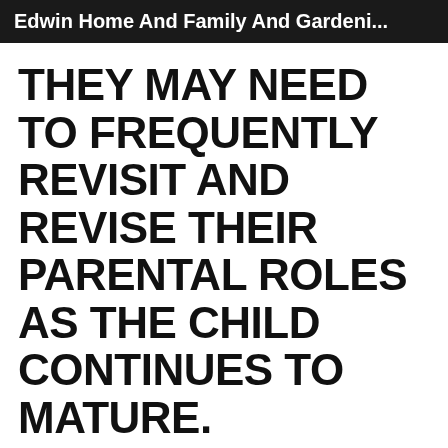Edwin Home And Family And Gardeni...
THEY MAY NEED TO FREQUENTLY REVISIT AND REVISE THEIR PARENTAL ROLES AS THE CHILD CONTINUES TO MATURE.
⊙ SEP 21, 2020
" Within just a few months, the teachers at my 15 years old Days to A New Child" program, Lee stopped hitting and pushing. The teachers adopted different methods to involve